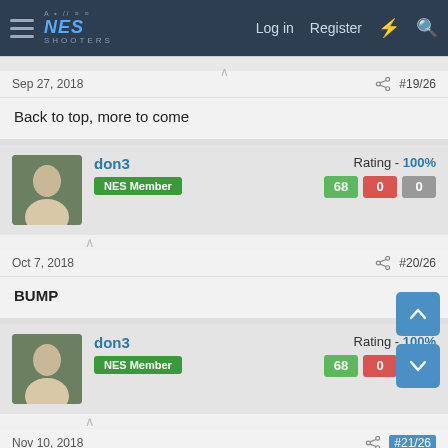NES Shooters — Log in | Register
Sep 27, 2018  #19/26
Back to top, more to come
don3 — NES Member — Rating - 100% — 68 / 0 / 0
Oct 7, 2018  #20/26
BUMP
don3 — NES Member — Rating - 100% — 68 / 0 / 0
Nov 10, 2018  #21/26
back to top,updated